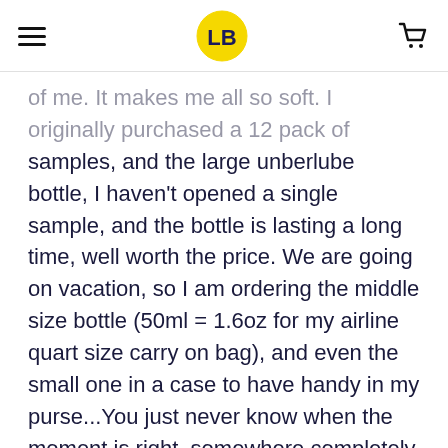[hamburger menu] [LB logo] [cart icon]
of me. It makes me all so soft. I originally purchased a 12 pack of samples, and the large unberlube bottle, I haven't opened a single sample, and the bottle is lasting a long time, well worth the price. We are going on vacation, so I am ordering the middle size bottle (50ml = 1.6oz for my airline quart size carry on bag), and even the small one in a case to have handy in my purse...You just never know when the moment is right, somewhere completely off the beaten path;-) Cheers! Go forth and have Great Sex!
Report this review